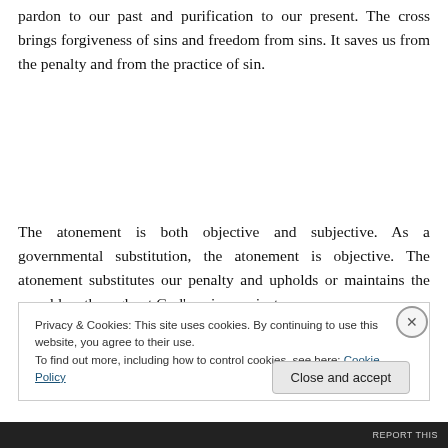pardon to our past and purification to our present. The cross brings forgiveness of sins and freedom from sins. It saves us from the penalty and from the practice of sin.
The atonement is both objective and subjective. As a governmental substitution, the atonement is objective. The atonement substitutes our penalty and upholds or maintains the moral law throughout God's universe, just as
Privacy & Cookies: This site uses cookies. By continuing to use this website, you agree to their use.
To find out more, including how to control cookies, see here: Cookie Policy
Close and accept